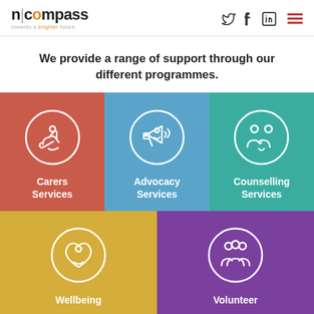n|compass towards a brighter future
We provide a range of support through our different programmes.
[Figure (infographic): Three colored tiles in top row: Carers Services (terracotta/red with hands icon), Advocacy Services (steel blue with megaphone/person icon), Counselling Services (teal with two people icon). Two colored tiles in bottom row: Wellbeing (gold/yellow with heart hands icon), Volunteer (purple with group of people icon).]